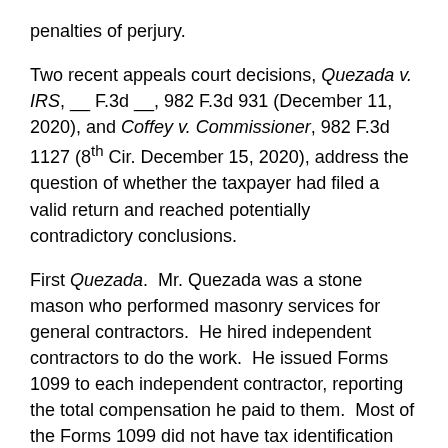penalties of perjury.
Two recent appeals court decisions, Quezada v. IRS, __ F.3d __, 982 F.3d 931 (December 11, 2020), and Coffey v. Commissioner, 982 F.3d 1127 (8th Cir. December 15, 2020), address the question of whether the taxpayer had filed a valid return and reached potentially contradictory conclusions.
First Quezada. Mr. Quezada was a stone mason who performed masonry services for general contractors. He hired independent contractors to do the work. He issued Forms 1099 to each independent contractor, reporting the total compensation he paid to them. Most of the Forms 1099 did not have tax identification numbers for the independent contractors. Under IRC sec. 3406(a), Mr. Quezada was required to withhold from payments to